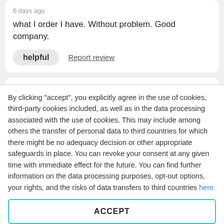6 days ago
what I order I have. Without problem. Good company.
helpful   Report review
[Figure (other): 4-star rating (4 filled yellow stars, 1 empty gray star) with a blue verified badge icon. Date: Jul 28, 2022]
By clicking "accept", you explicitly agree in the use of cookies, third-party cookies included, as well as in the data processing associated with the use of cookies. This may include among others the transfer of personal data to third countries for which there might be no adequacy decision or other appropriate safeguards in place. You can revoke your consent at any given time with immediate effect for the future. You can find further information on the data processing purposes, opt-out options, your rights, and the risks of data transfers to third countries here.
ACCEPT